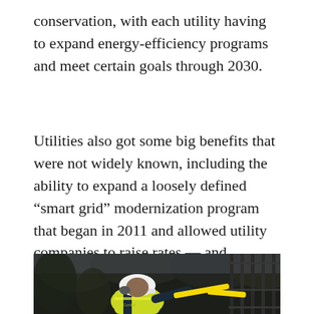conservation, with each utility having to expand energy-efficiency programs and meet certain goals through 2030.
Utilities also got some big benefits that were not widely known, including the ability to expand a loosely defined “smart grid” modernization program that began in 2011 and allowed utility companies to raise rates — and increase profits.
[Figure (photo): A utility worker in a yellow safety vest and white hard hat handling yellow caution tape near a metal fence, with dark foliage in the background.]